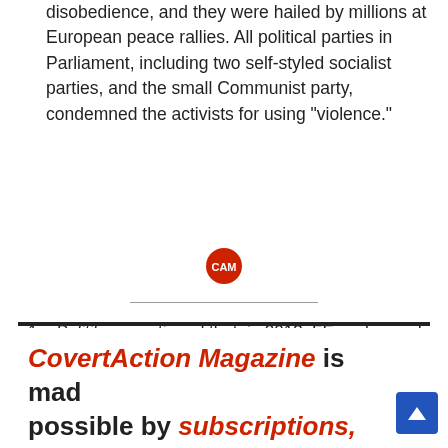disobedience, and they were hailed by millions at European peace rallies. All political parties in Parliament, including two self-styled socialist parties, and the small Communist party, condemned the activists for using “violence.”
[Figure (logo): CAM logo — red circle with white text 'CAM']
Politiken mentioned that, in 2013, FE exchanged information with U.S. agencies regarding Edward Snowden’s revelations of National Security Agency illegalities. Among materials shared with U.S. intelligence were references concerning Danish citizens.
CovertAction Magazine is made possible by subscriptions, orders...